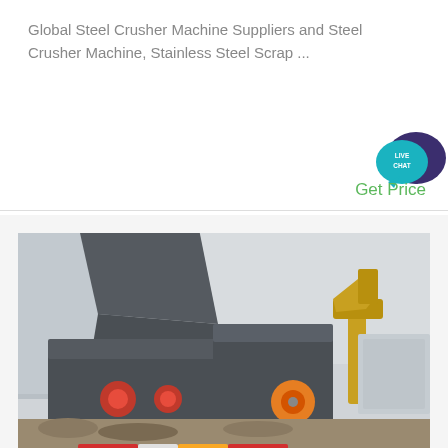Global Steel Crusher Machine Suppliers and Steel Crusher Machine, Stainless Steel Scrap ...
[Figure (illustration): Live chat bubble icon in teal/dark blue colors with text 'LIVE CHAT']
Get Price
[Figure (photo): Photograph of an industrial crusher machine setup outdoors at a construction or demolition site. Shows large grey/dark metal jaw crushers with orange flywheels, a yellow excavator bucket on the right, concrete walls in the background, and rubble on the ground.]